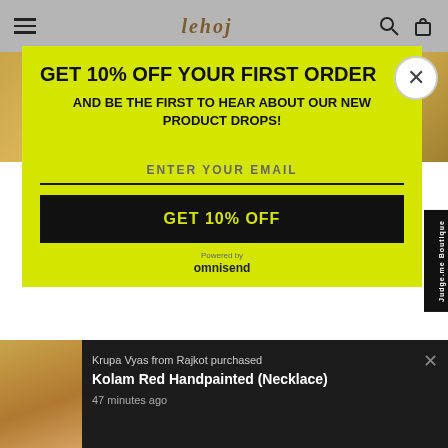Lehoj — navigation bar with hamburger menu, logo, search and cart icons
[Figure (screenshot): Yellow-green promotional popup modal on a greyed-out e-commerce website background]
GET 10% OFF YOUR FIRST ORDER
AND BE THE FIRST TO HEAR ABOUT OUR NEW PRODUCT DROPS!
ENTER YOUR EMAIL
GET 10% OFF
Powered by omnisend
Krupa Vyas from Rajkot purchased Kolam Red Handpainted (Necklace)
47 minutes ago